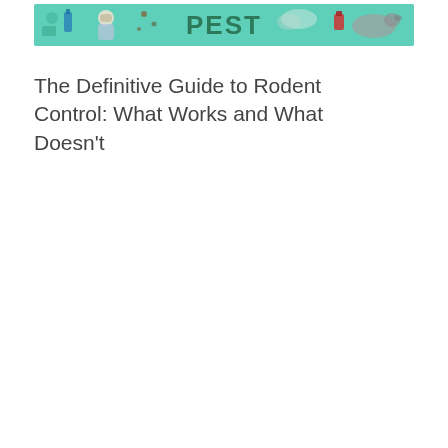[Figure (illustration): A horizontal banner with a teal/green background featuring pest control themed illustrations (exterminator, insects, spray cans, rodents) and bold green text reading 'PEST']
The Definitive Guide to Rodent Control: What Works and What Doesn't